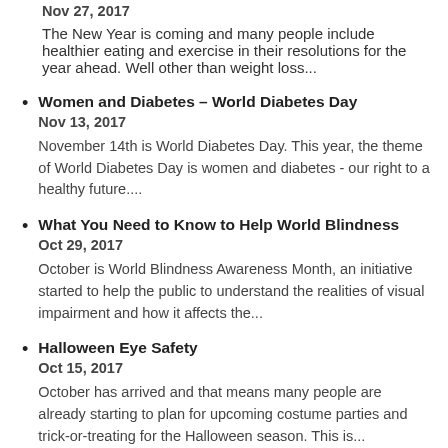Nov 27, 2017
The New Year is coming and many people include healthier eating and exercise in their resolutions for the year ahead. Well other than weight loss...
Women and Diabetes – World Diabetes Day
Nov 13, 2017
November 14th is World Diabetes Day. This year, the theme of World Diabetes Day is women and diabetes - our right to a healthy future....
What You Need to Know to Help World Blindness
Oct 29, 2017
October is World Blindness Awareness Month, an initiative started to help the public to understand the realities of visual impairment and how it affects the...
Halloween Eye Safety
Oct 15, 2017
October has arrived and that means many people are already starting to plan for upcoming costume parties and trick-or-treating for the Halloween season. This is...